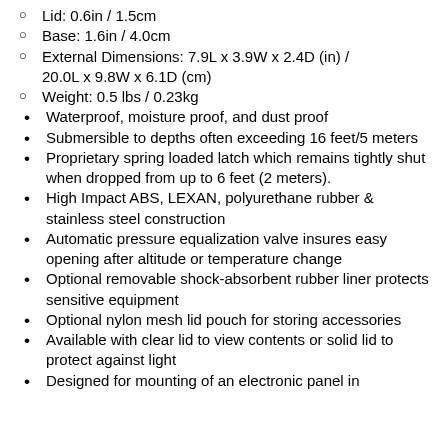Lid: 0.6in / 1.5cm
Base: 1.6in / 4.0cm
External Dimensions: 7.9L x 3.9W x 2.4D (in) / 20.0L x 9.8W x 6.1D (cm)
Weight: 0.5 lbs / 0.23kg
Waterproof, moisture proof, and dust proof
Submersible to depths often exceeding 16 feet/5 meters
Proprietary spring loaded latch which remains tightly shut when dropped from up to 6 feet (2 meters).
High Impact ABS, LEXAN, polyurethane rubber & stainless steel construction
Automatic pressure equalization valve insures easy opening after altitude or temperature change
Optional removable shock-absorbent rubber liner protects sensitive equipment
Optional nylon mesh lid pouch for storing accessories
Available with clear lid to view contents or solid lid to protect against light
Designed for mounting of an electronic panel in